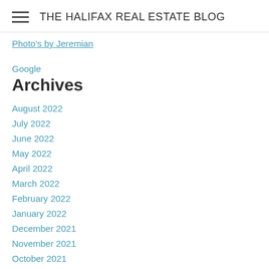THE HALIFAX REAL ESTATE BLOG
Photo's by Jeremian
Google
Archives
August 2022
July 2022
June 2022
May 2022
April 2022
March 2022
February 2022
January 2022
December 2021
November 2021
October 2021
September 2021
August 2021